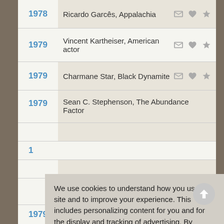1978 – Ricardo Garcês, Appalachia
1979 – Vincent Kartheiser, American actor
1979 – Charmane Star, Black Dynamite
1979 – Sean C. Stephenson, The Abundance Factor
We use cookies to understand how you use our site and to improve your experience. This includes personalizing content for you and for the display and tracking of advertising. By continuing to use our site, you accept and agree to our use of cookies. Privacy Policy
Got it!
1979